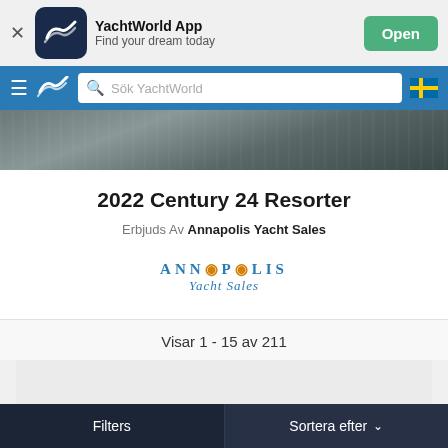[Figure (screenshot): App banner for YachtWorld App with icon, name, tagline, and Open button]
YachtWorld App — Find your dream today
[Figure (screenshot): Navigation bar with hamburger menu, YachtWorld logo, search bar 'Sök YachtWorld', and Swedish flag icon]
[Figure (photo): Hero image showing dark ocean water surface]
2022 Century 24 Resorter
Erbjuds Av Annapolis Yacht Sales
[Figure (logo): Annapolis Yacht Sales logo]
Visar 1 - 15 av 211
[Figure (screenshot): Gray placeholder listing card area]
Filters | Sortera efter